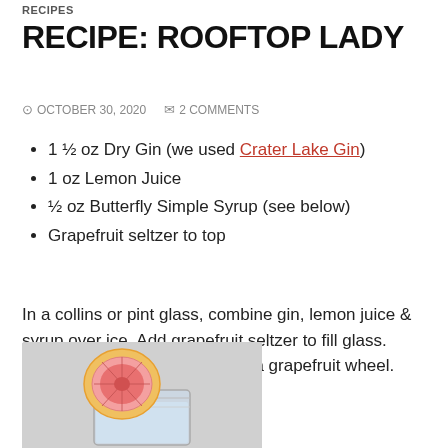RECIPES
RECIPE: ROOFTOP LADY
⊙ OCTOBER 30, 2020   ✉ 2 COMMENTS
1 ½ oz Dry Gin (we used Crater Lake Gin)
1 oz Lemon Juice
½ oz Butterfly Simple Syrup (see below)
Grapefruit seltzer to top
In a collins or pint glass, combine gin, lemon juice & syrup over ice. Add grapefruit seltzer to fill glass. Give it a little stir. Garnish with a grapefruit wheel.
[Figure (photo): A cocktail in a short glass garnished with a grapefruit wheel slice on the rim, photographed against a light grey background.]